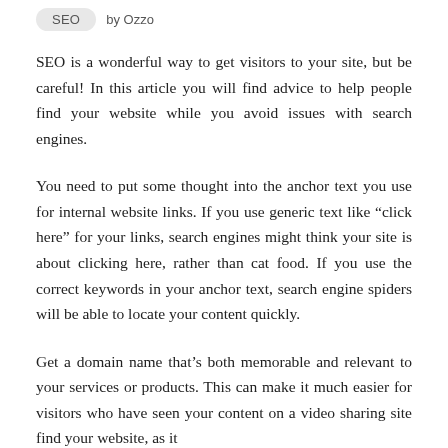SEO by Ozzo
SEO is a wonderful way to get visitors to your site, but be careful! In this article you will find advice to help people find your website while you avoid issues with search engines.
You need to put some thought into the anchor text you use for internal website links. If you use generic text like “click here” for your links, search engines might think your site is about clicking here, rather than cat food. If you use the correct keywords in your anchor text, search engine spiders will be able to locate your content quickly.
Get a domain name that’s both memorable and relevant to your services or products. This can make it much easier for visitors who have seen your content on a video sharing site find your website, as it